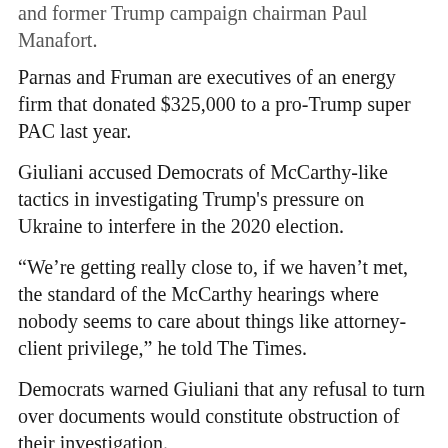and former Trump campaign chairman Paul Manafort.
Parnas and Fruman are executives of an energy firm that donated $325,000 to a pro-Trump super PAC last year.
Giuliani accused Democrats of McCarthy-like tactics in investigating Trump's pressure on Ukraine to interfere in the 2020 election.
“We’re getting really close to, if we haven’t met, the standard of the McCarthy hearings where nobody seems to care about things like attorney-client privilege,” he told The Times.
Democrats warned Giuliani that any refusal to turn over documents would constitute obstruction of their investigation.
“Your failure or refusal to comply with the subpoena, including at the direction or behest of the president or